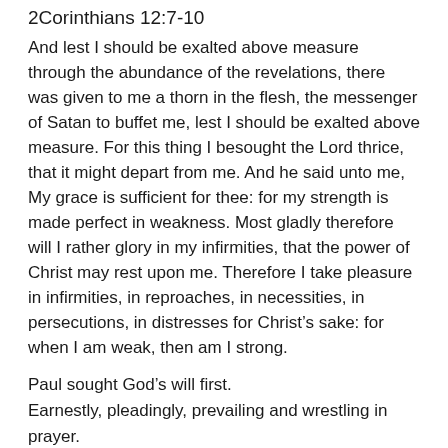2Corinthians 12:7-10
And lest I should be exalted above measure through the abundance of the revelations, there was given to me a thorn in the flesh, the messenger of Satan to buffet me, lest I should be exalted above measure. For this thing I besought the Lord thrice, that it might depart from me. And he said unto me, My grace is sufficient for thee: for my strength is made perfect in weakness. Most gladly therefore will I rather glory in my infirmities, that the power of Christ may rest upon me. Therefore I take pleasure in infirmities, in reproaches, in necessities, in persecutions, in distresses for Christ’s sake: for when I am weak, then am I strong.
Paul sought God’s will first.
Earnestly, pleadingly, prevailing and wrestling in prayer.
God said, “This thing is from me,”